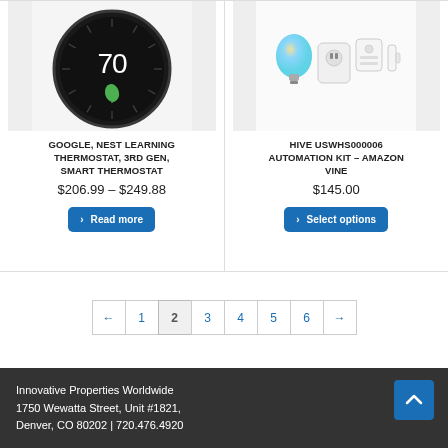[Figure (photo): Google Nest Learning Thermostat 3rd Gen product image — circular black thermostat showing 70 degrees and a green leaf icon]
[Figure (photo): Hive USWHS000006 Automation Kit product image — smart bulb, smart plug, hub, and door sensor on white background]
GOOGLE, NEST LEARNING THERMOSTAT, 3RD GEN, SMART THERMOSTAT
HIVE USWHS000006 AUTOMATION KIT – AMAZON VINE
$206.99 – $249.88
$145.00
› Read more
› Select options
← 1 2 3 4 5 6 →
Innovative Properties Worldwide
1750 Wewatta Street, Unit #1821,
Denver, CO 80202 | 720.476.4920